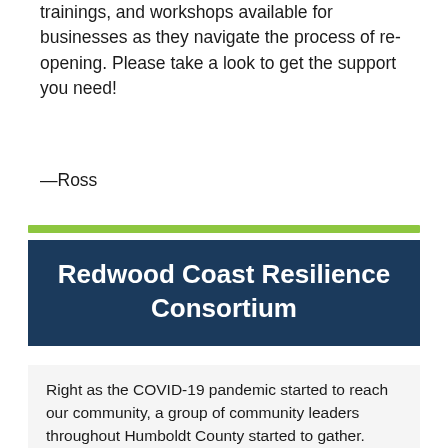trainings, and workshops available for businesses as they navigate the process of re-opening. Please take a look to get the support you need!
—Ross
Redwood Coast Resilience Consortium
Right as the COVID-19 pandemic started to reach our community, a group of community leaders throughout Humboldt County started to gather. Started by Gregg Foster, Executive Director of the Redwood Region Economic Development Commission, the COVID Economic Resilience Committee started meeting via Zoom daily. The goal was to strengthen lines of communication and to develop a unified approach to helping businesses survive the massive disruption of sheltering in place.